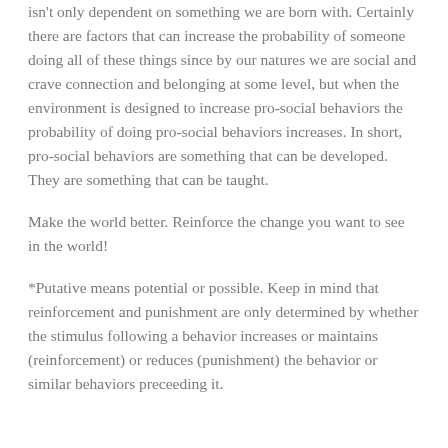isn't only dependent on something we are born with. Certainly there are factors that can increase the probability of someone doing all of these things since by our natures we are social and crave connection and belonging at some level, but when the environment is designed to increase pro-social behaviors the probability of doing pro-social behaviors increases. In short, pro-social behaviors are something that can be developed. They are something that can be taught.
Make the world better. Reinforce the change you want to see in the world!
*Putative means potential or possible. Keep in mind that reinforcement and punishment are only determined by whether the stimulus following a behavior increases or maintains (reinforcement) or reduces (punishment) the behavior or similar behaviors preceeding it.